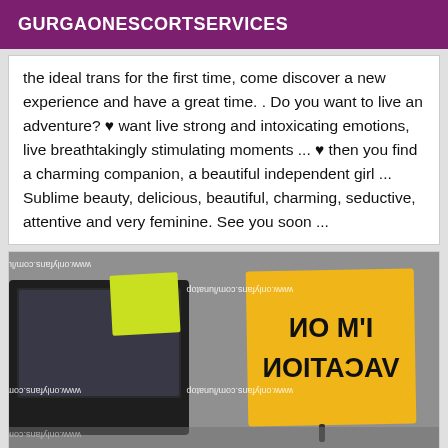GURGAONESCORTSERVICES
the ideal trans for the first time, come discover a new experience and have a great time. . Do you want to live an adventure? ♥ want live strong and intoxicating emotions, live breathtakingly stimulating moments ... ♥ then you find a charming companion, a beautiful independent girl ... Sublime beauty, delicious, beautiful, charming, seductive, attentive and very feminine. See you soon ...
[Figure (photo): A mirrored/flipped photo showing sticky notes on a laptop. A large yellow sticky note shows 'I'M ON VACATION' text (shown mirrored). A smaller yellow-green sticky note is also visible. Watermark text 'www.onlyfans.com/lunatop' appears multiple times across the image.]